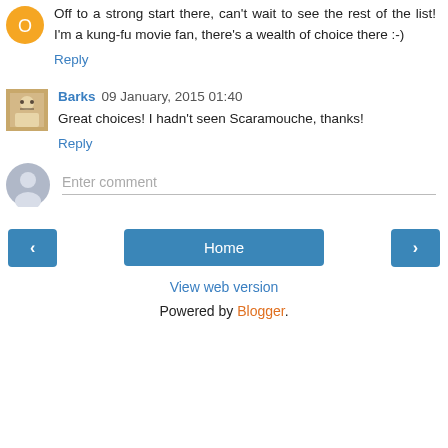Off to a strong start there, can't wait to see the rest of the list! I'm a kung-fu movie fan, there's a wealth of choice there :-)
Reply
Barks 09 January, 2015 01:40
Great choices! I hadn't seen Scaramouche, thanks!
Reply
Enter comment
Home
View web version
Powered by Blogger.